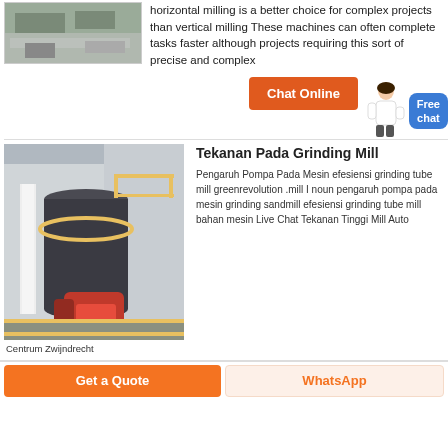[Figure (photo): Industrial mining or quarrying site with machinery and rubble, shown as top-left image thumbnail]
horizontal milling is a better choice for complex projects than vertical milling These machines can often complete tasks faster although projects requiring this sort of precise and complex
[Figure (illustration): Chat Online button with female figure and Free chat badge]
[Figure (photo): Large industrial grinding mill machine (vertical mill) in a factory/industrial setting, with red machinery at the base and yellow railings]
Centrum Zwijndrecht
Tekanan Pada Grinding Mill
Pengaruh Pompa Pada Mesin efesiensi grinding tube mill greenrevolution .mill I noun pengaruh pompa pada mesin grinding sandmill efesiensi grinding tube mill bahan mesin Live Chat Tekanan Tinggi Mill Auto